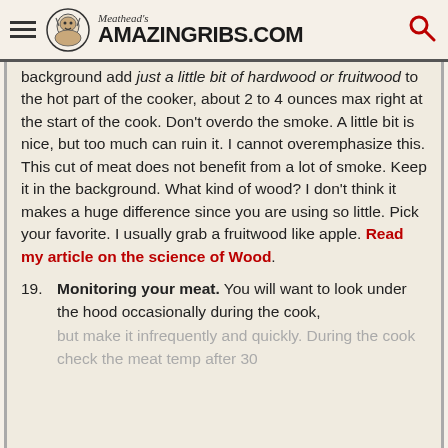Meathead's AmazingRibs.com
background add just a little bit of hardwood or fruitwood to the hot part of the cooker, about 2 to 4 ounces max right at the start of the cook. Don't overdo the smoke. A little bit is nice, but too much can ruin it. I cannot overemphasize this. This cut of meat does not benefit from a lot of smoke. Keep it in the background. What kind of wood? I don't think it makes a huge difference since you are using so little. Pick your favorite. I usually grab a fruitwood like apple. Read my article on the science of Wood.
19. Monitoring your meat. You will want to look under the hood occasionally during the cook, but make it infrequently and quickly. During the cook check the meat temp after 30